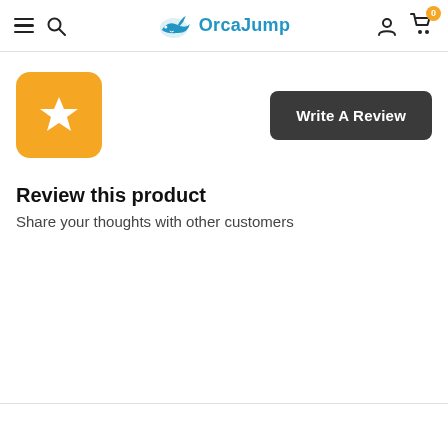OrcaJump — navigation header with hamburger menu, search icon, logo, user icon, and cart (0)
[Figure (logo): OrcaJump logo with blue orca/shark icon and blue bold text 'OrcaJump']
[Figure (illustration): Orange rounded square icon with a white star in the center]
[Figure (other): Dark grey button labeled 'Write A Review']
Review this product
Share your thoughts with other customers